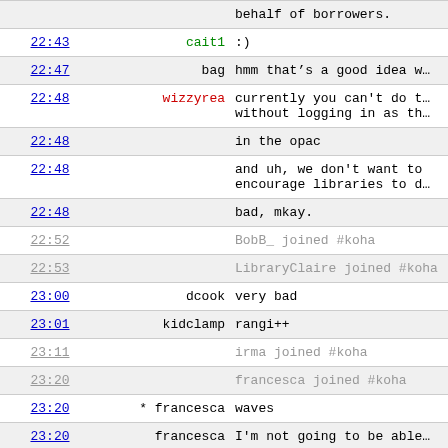| time | nick | message |
| --- | --- | --- |
|  |  | behalf of borrowers. |
| 22:43 | cait1 | :) |
| 22:47 | bag | hmm that’s a good idea w… |
| 22:48 | wizzyrea | currently you can't do t… without logging in as th… |
| 22:48 |  | in the opac |
| 22:48 |  | and uh, we don't want to encourage libraries to d… |
| 22:48 |  | bad, mkay. |
| 22:52 |  | BobB_ joined #koha |
| 22:53 |  | LibraryClaire joined #koha |
| 23:00 | dcook | very bad |
| 23:01 | kidclamp | rangi++ |
| 23:11 |  | irma joined #koha |
| 23:20 |  | francesca joined #koha |
| 23:20 | * francesca | waves |
| 23:20 | francesca | I'm not going to be able… |